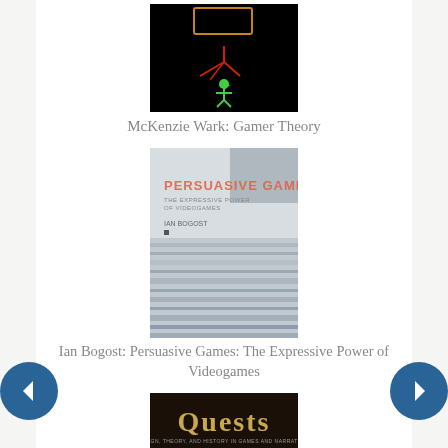[Figure (photo): Book cover of McKenzie Wark: Gamer Theory — dark/black background with a green figure and red lines]
McKenzie Wark: Gamer Theory
[Figure (photo): Book cover of Ian Bogost: Persuasive Games: The Expressive Power of Videogames — light gray/white cover with horizontal streaks]
Ian Bogost: Persuasive Games: The Expressive Power of Videogames
[Figure (photo): Book cover of Jeff Howard: Quests: Design, Theory, and History in Games — dark cover with gold 'Quests' title]
Jeff Howard: Quests: Design, Theory, and History in Games